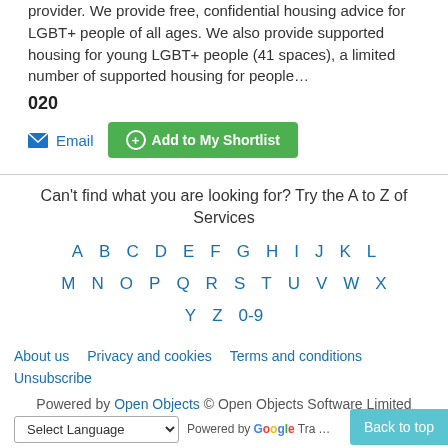provider. We provide free, confidential housing advice for LGBT+ people of all ages. We also provide supported housing for young LGBT+ people (41 spaces), a limited number of supported housing for people…
020
Email   Add to My Shortlist
Can't find what you are looking for? Try the A to Z of Services
A B C D E F G H I J K L M N O P Q R S T U V W X Y Z 0-9
About us   Privacy and cookies   Terms and conditions   Unsubscribe
Powered by Open Objects © Open Objects Software Limited
Select Language  Powered by Google Translate  Back to top